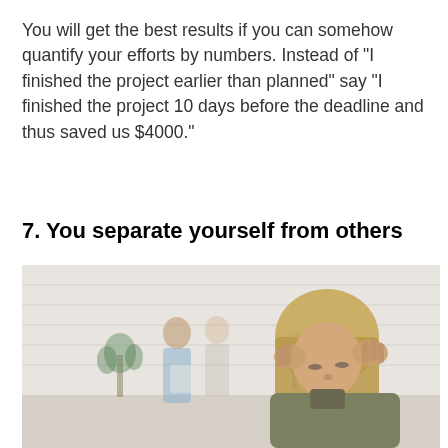You will get the best results if you can somehow quantify your efforts by numbers. Instead of "I finished the project earlier than planned" say "I finished the project 10 days before the deadline and thus saved us $4000."
7. You separate yourself from others
[Figure (photo): A woman in the foreground holds her head in her hands, appearing stressed or isolated. In the background, blurred colleagues interact in a bright office space with exposed brick walls and plants.]